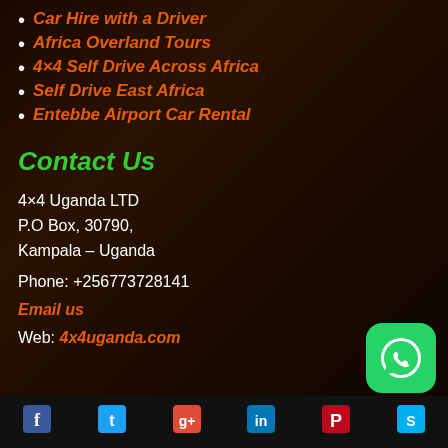Car Hire with a Driver
Africa Overland Tours
4×4 Self Drive Across Africa
Self Drive East Africa
Entebbe Airport Car Rental
Contact Us
4×4 Uganda LTD
P.O Box, 30790,
Kampala – Uganda
Phone: +256773728141
Email us
Web: 4x4uganda.com
[Figure (other): WhatsApp button icon (green rounded square with phone icon)]
[Figure (other): Social media icons bar: Facebook, Twitter, Google+, LinkedIn, Pinterest, Skype]